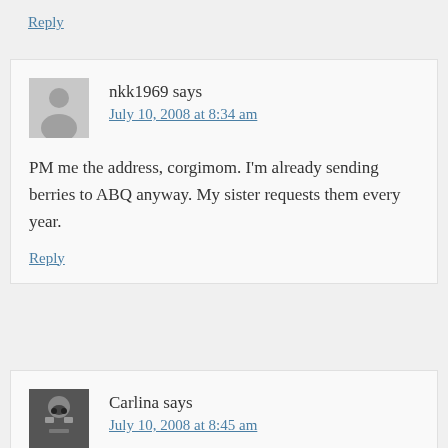Reply
nkk1969 says
July 10, 2008 at 8:34 am
PM me the address, corgimom. I'm already sending berries to ABQ anyway. My sister requests them every year.
Reply
Carlina says
July 10, 2008 at 8:45 am